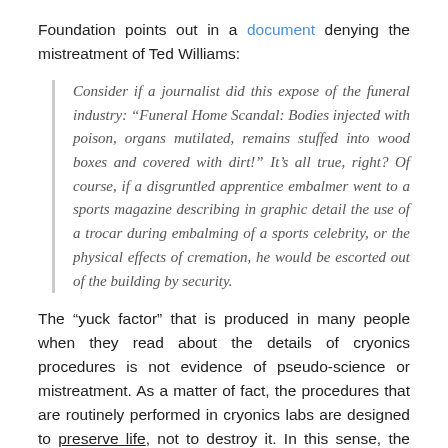Foundation points out in a document denying the mistreatment of Ted Williams:
Consider if a journalist did this expose of the funeral industry: “Funeral Home Scandal: Bodies injected with poison, organs mutilated, remains stuffed into wood boxes and covered with dirt!” It’s all true, right? Of course, if a disgruntled apprentice embalmer went to a sports magazine describing in graphic detail the use of a trocar during embalming of a sports celebrity, or the physical effects of cremation, he would be escorted out of the building by security.
The “yuck factor” that is produced in many people when they read about the details of cryonics procedures is not evidence of pseudo-science or mistreatment. As a matter of fact, the procedures that are routinely performed in cryonics labs are designed to preserve life, not to destroy it. In this sense, the practice of cryonics can claim the moral